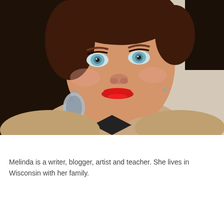[Figure (photo): Close-up portrait photo of Melinda Haas, a woman with blue eyes, red lipstick, decorative drop earrings, and a beige blazer, photographed against a neutral background.]
Melinda Haas
Melinda is a writer, blogger, artist and teacher. She lives in Wisconsin with her family.
View Full Profile →